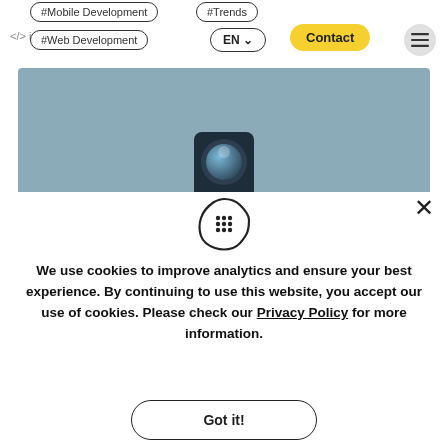#Mobile Development  #Trends  idealogic  #Web Development  EN  Contact
[Figure (screenshot): Partial view of a smartphone camera lens on a grey-blue background]
[Figure (illustration): Cookie icon: a grid of dots enclosed in a rounded square bubble shape]
We use cookies to improve analytics and ensure your best experience. By continuing to use this website, you accept our use of cookies. Please check our Privacy Policy for more information.
Got it!